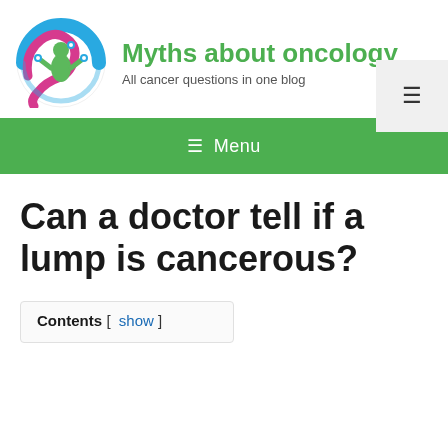[Figure (logo): Circular logo with stylized human figure in green with blue and pink swirling elements and circuit-like dots]
Myths about oncology
All cancer questions in one blog
[Figure (other): Hamburger menu icon button in light grey box]
≡ Menu
Can a doctor tell if a lump is cancerous?
Contents [ show ]